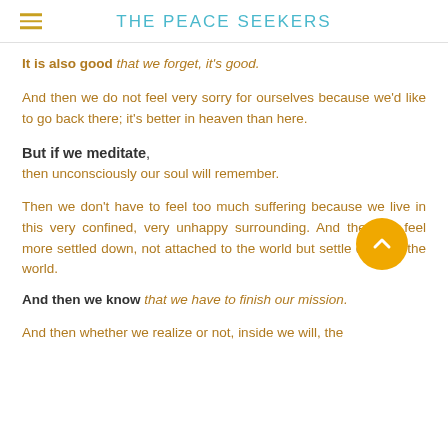THE PEACE SEEKERS
It is also good that we forget, it's good.
And then we do not feel very sorry for ourselves because we'd like to go back there; it's better in heaven than here.
But if we meditate, then unconsciously our soul will remember.
Then we don't have to feel too much suffering because we live in this very confined, very unhappy surrounding. And then we feel more settled down, not attached to the world but settle down in the world.
And then we know that we have to finish our mission.
And then whether we realize or not, inside we will, the